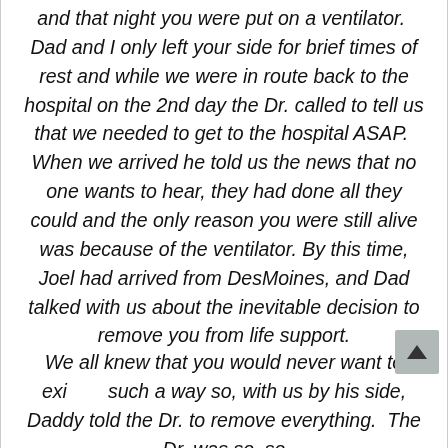and that night you were put on a ventilator.  Dad and I only left your side for brief times of rest and while we were in route back to the hospital on the 2nd day the Dr. called to tell us that we needed to get to the hospital ASAP.  When we arrived he told us the news that no one wants to hear, they had done all they could and the only reason you were still alive was because of the ventilator. By this time, Joel had arrived from DesMoines, and Dad talked with us about the inevitable decision to remove you from life support.
We all knew that you would never want to exi... such a way so, with us by his side, Daddy told the Dr. to remove everything.  The Dr. was so, so